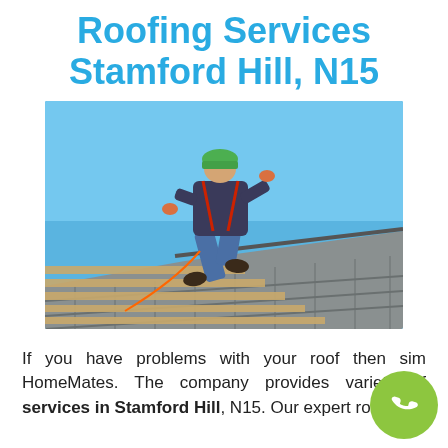Roofing Services Stamford Hill, N15
[Figure (photo): A roofer in a green hard hat and work clothes kneeling on a roof under construction, with wooden roof battens visible and grey roof tiles on the right side, under a blue sky.]
If you have problems with your roof then sim HomeMates. The company provides variety of services in Stamford Hill, N15. Our expert roo